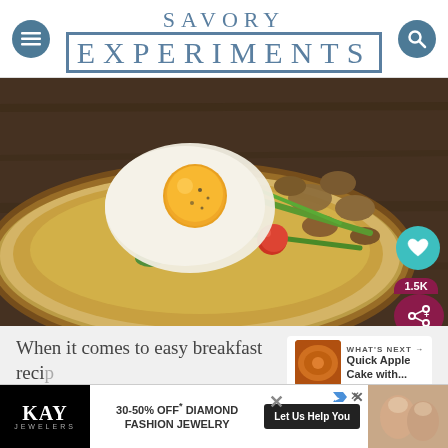SAVORY EXPERIMENTS · REAL LIFE · REAL FOOD
[Figure (photo): A flatbread/naan breakfast pizza topped with a fried egg, mushrooms, cherry tomatoes, spinach, and green onions, on a dark wooden surface]
WHAT'S NEXT → Quick Apple Cake with...
When it comes to easy breakfast recipes,
Breakfast Pizza tops the list! With just a few
[Figure (other): KAY Jewelers advertisement: 30-50% OFF* DIAMOND FASHION JEWELRY - Let Us Help You]